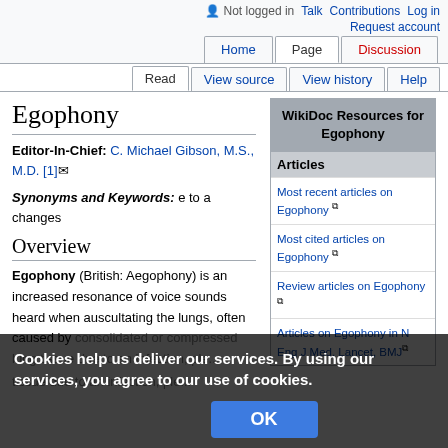Not logged in  Talk  Contributions  Log in  Request account  Home  Page  Discussion  Read  View source  View history  Help
Egophony
Editor-In-Chief: C. Michael Gibson, M.S., M.D. [1]
Synonyms and Keywords: e to a changes
Overview
Egophony (British: Aegophony) is an increased resonance of voice sounds heard when auscultating the lungs, often caused by consolidated or compressed lung tissue due to an infection, pleural effusion, tumor or compara...
| WikiDoc Resources for Egophony |
| --- |
| Articles |
| Most recent articles on Egophony |
| Most cited articles on Egophony |
| Review articles on Egophony |
| Articles on Egophony in N Eng J Med, Lancet, BMJ |
Cookies help us deliver our services. By using our services, you agree to our use of cookies.